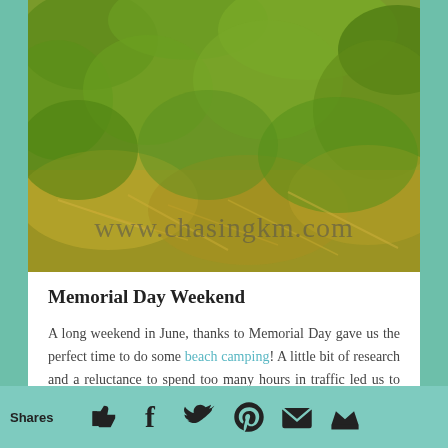[Figure (photo): Outdoor nature photo showing green foliage and dried grass/straw, with watermark text 'www.chasingkm.com' overlaid at the bottom center.]
Memorial Day Weekend
A long weekend in June, thanks to Memorial Day gave us the perfect time to do some beach camping! A little bit of research and a reluctance to spend too many hours in traffic led us to Pohang. A slightly obscure blog post mentioned a secluded beach, next door to Pohang's main beach Chilpo,
Shares  [thumbs-up] [facebook] [twitter] [pinterest] [email] [crown]